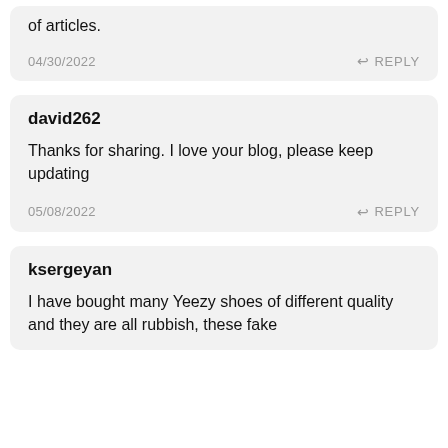of articles.
04/30/2022    ↩ REPLY
david262
Thanks for sharing. I love your blog, please keep updating
05/08/2022    ↩ REPLY
ksergeyan
I have bought many Yeezy shoes of different quality and they are all rubbish, these fake